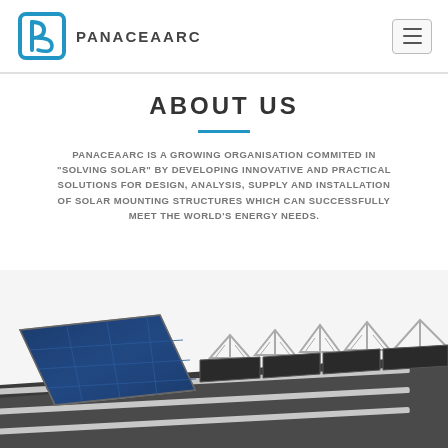[Figure (logo): PANACEAARC logo with blue stylized P icon and text PANACEAARC]
ABOUT US
PANACEAARC IS A GROWING ORGANISATION COMMITED IN "SOLVING SOLAR" BY DEVELOPING INNOVATIVE AND PRACTICAL SOLUTIONS FOR DESIGN, ANALYSIS, SUPPLY AND INSTALLATION OF SOLAR MOUNTING STRUCTURES WHICH CAN SUCCESSFULLY MEET THE WORLD'S ENERGY NEEDS.
[Figure (photo): 3D rendering of solar panel mounting structures with blue solar panels and aluminium frames on a rooftop]